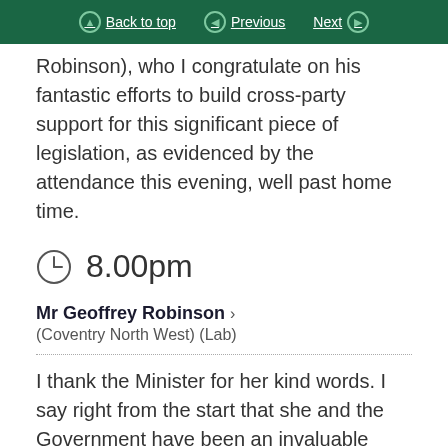Back to top | Previous | Next
Robinson), who I congratulate on his fantastic efforts to build cross-party support for this significant piece of legislation, as evidenced by the attendance this evening, well past home time.
8.00pm
Mr Geoffrey Robinson (Coventry North West) (Lab)
I thank the Minister for her kind words. I say right from the start that she and the Government have been an invaluable asset in getting the Bill to this stage. It has been supported throughout the House of Commons, and I was delighted with that. All the party leaders in this place have supported it. I must